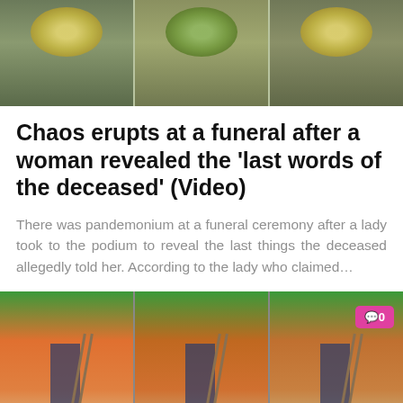[Figure (photo): Three-panel composite photo showing a funeral setting with floral arrangements and people in the background.]
Chaos erupts at a funeral after a woman revealed the ‘last words of the deceased’ (Video)
There was pandemonium at a funeral ceremony after a lady took to the podium to reveal the last things the deceased allegedly told her. According to the lady who claimed…
[Figure (photo): Three-panel composite photo showing colorful painted walls, a door, and a ladder outside a building. A pink comment badge showing '0' is visible in the top right corner.]